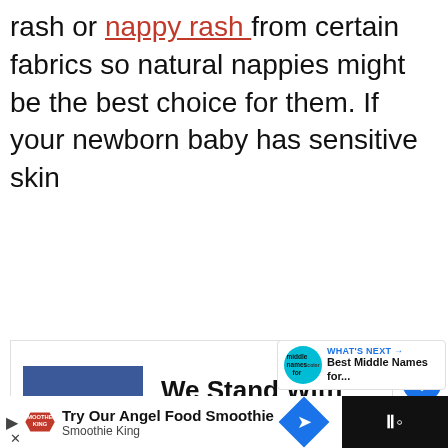rash or nappy rash from certain fabrics so natural nappies might be the best choice for them. If your newborn baby has sensitive skin
[Figure (infographic): Advertisement banner with Ukrainian flag (blue and yellow) and text 'We Stand With You']
[Figure (infographic): Social sidebar with heart/like button, count of 1, and share button]
[Figure (infographic): What's Next widget showing 'Best Middle Names for...' with teal circular icon]
[Figure (infographic): Bottom advertisement bar: 'Try Our Angel Food Smoothie - Smoothie King' with logo and navigation arrow, plus dark section with menu icon]